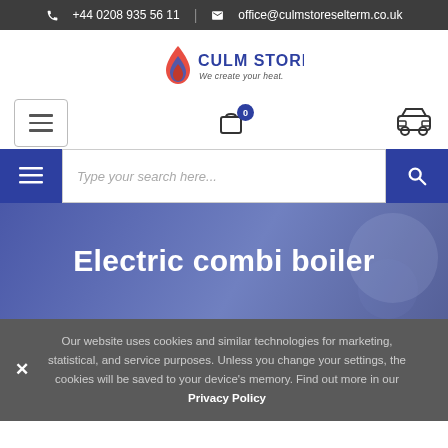+44 0208 935 56 11  |  office@culmstoreselterm.co.uk
[Figure (logo): Culm Stores logo with flame icon and tagline 'We create your heat']
Electric combi boiler
Our website uses cookies and similar technologies for marketing, statistical, and service purposes. Unless you change your settings, the cookies will be saved to your device's memory. Find out more in our Privacy Policy